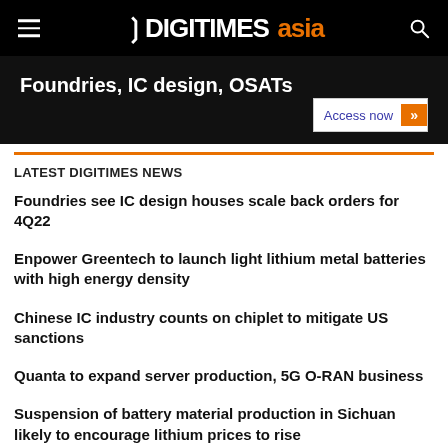DIGITIMES asia
[Figure (screenshot): Advertisement banner with text 'Foundries, IC design, OSATs' and 'Access now' button]
LATEST DIGITIMES NEWS
Foundries see IC design houses scale back orders for 4Q22
Enpower Greentech to launch light lithium metal batteries with high energy density
Chinese IC industry counts on chiplet to mitigate US sanctions
Quanta to expand server production, 5G O-RAN business
Suspension of battery material production in Sichuan likely to encourage lithium prices to rise
ViewSonic lays out plans for education metaverse
Net Zero Series (4): Five practical steps to achieve net zero supply chain by Deloitte